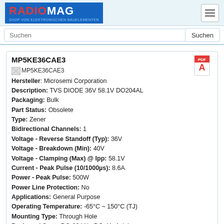RADIOMAG - SHOP VON ELEKTRONISCHEN BAUELEMENTEN
Suchen
MP5KE36CAE3
Hersteller: Microsemi Corporation
Description: TVS DIODE 36V 58.1V DO204AL
Packaging: Bulk
Part Status: Obsolete
Type: Zener
Bidirectional Channels: 1
Voltage - Reverse Standoff (Typ): 36V
Voltage - Breakdown (Min): 40V
Voltage - Clamping (Max) @ Ipp: 58.1V
Current - Peak Pulse (10/1000µs): 8.6A
Power - Peak Pulse: 500W
Power Line Protection: No
Applications: General Purpose
Operating Temperature: -65°C ~ 150°C (TJ)
Mounting Type: Through Hole
Package / Case: DO-204AL, DO-41, Axial
Supplier Device Package: DO-204AL (DO-41)
Produkt ist nicht verfügbar, Sie können Anfrage senden wenn Sie Produkt in den Warenkorb hinzufügen